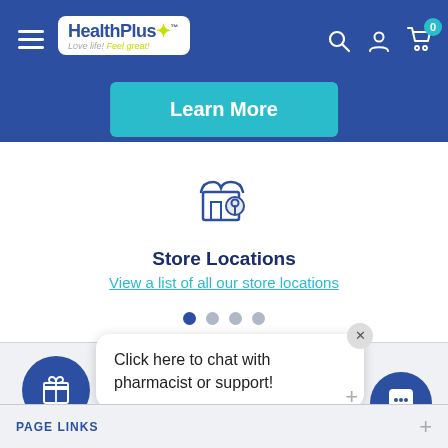[Figure (screenshot): HealthPlus pharmacy website header with logo, navigation icons, and Learn More button on blue background]
[Figure (illustration): Store location icon — storefront with map pin — above Store Locations text]
Store Locations
View a list of all our store locations
[Figure (infographic): Carousel navigation dots, first dot active]
Click here to chat with pharmacist or support!
PAGE LINKS